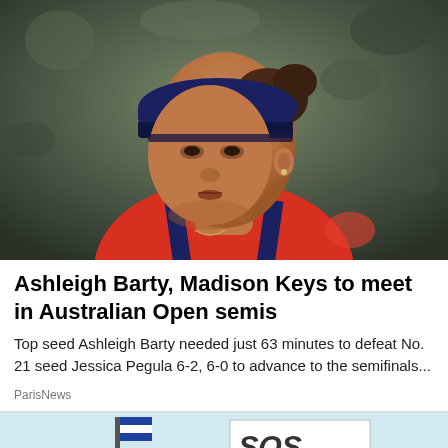[Figure (photo): Close-up photo of a female tennis player wearing a blue visor cap and red/navy tank top, looking upward. Background is blurred green/dark tones suggesting a tennis court crowd.]
Ashleigh Barty, Madison Keys to meet in Australian Open semis
Top seed Ashleigh Barty needed just 63 minutes to defeat No. 21 seed Jessica Pegula 6-2, 6-0 to advance to the semifinals...
ParisNews
[Figure (photo): Partial bottom image showing a light blue background with a flag and a handwritten sign reading 'SOS'.]